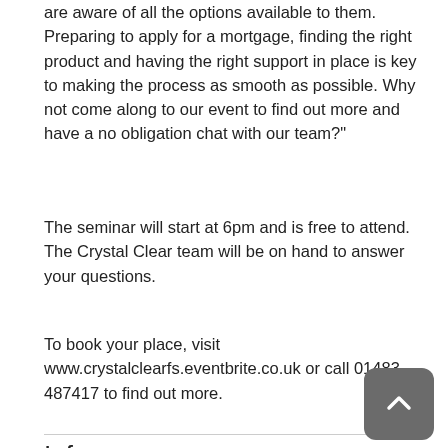are aware of all the options available to them. Preparing to apply for a mortgage, finding the right product and having the right support in place is key to making the process as smooth as possible. Why not come along to our event to find out more and have a no obligation chat with our team?”
The seminar will start at 6pm and is free to attend. The Crystal Clear team will be on hand to answer your questions.
To book your place, visit www.crystalclearfs.eventbrite.co.uk or call 01483 487417 to find out more.
Info
LOCATION
Guildford Rugby Club
BEST EVENTS
Education &